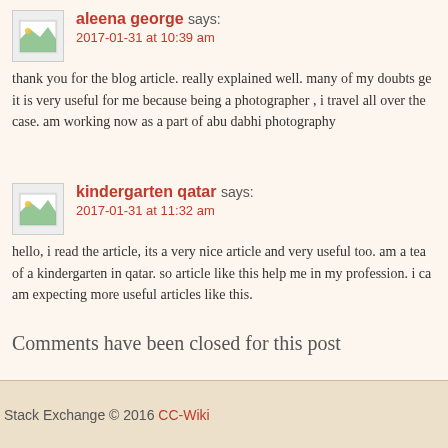aleena george says: 2017-01-31 at 10:39 am
thank you for the blog article. really explained well. many of my doubts ge it is very useful for me because being a photographer , i travel all over the case. am working now as a part of abu dabhi photography
kindergarten qatar says: 2017-01-31 at 11:32 am
hello, i read the article, its a very nice article and very useful too. am a tea of a kindergarten in qatar. so article like this help me in my profession. i c am expecting more useful articles like this.
Comments have been closed for this post
Stack Exchange © 2016 CC-Wiki